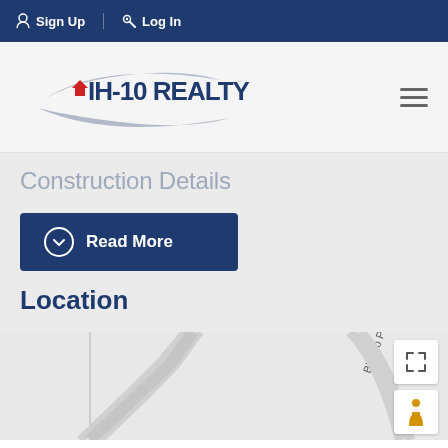Sign Up  Log In
[Figure (logo): IH-10 Realty logo with swoosh design and small red house icon]
Construction Details
Read More
Location
[Figure (map): Street map showing Blanco Pass area with navigation controls]